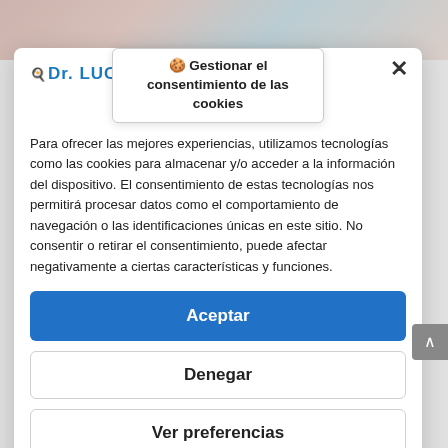[Figure (screenshot): Background food/recipe website screenshot visible at the top of the page behind the cookie consent modal]
🍪 Gestionar el consentimiento de las cookies
[Figure (logo): Dr. LUCRO logo with chef hat icon in blue]
Para ofrecer las mejores experiencias, utilizamos tecnologías como las cookies para almacenar y/o acceder a la información del dispositivo. El consentimiento de estas tecnologías nos permitirá procesar datos como el comportamiento de navegación o las identificaciones únicas en este sitio. No consentir o retirar el consentimiento, puede afectar negativamente a ciertas características y funciones.
Aceptar
Denegar
Ver preferencias
Política de cookies   Política de Privacidad   Aviso Legal